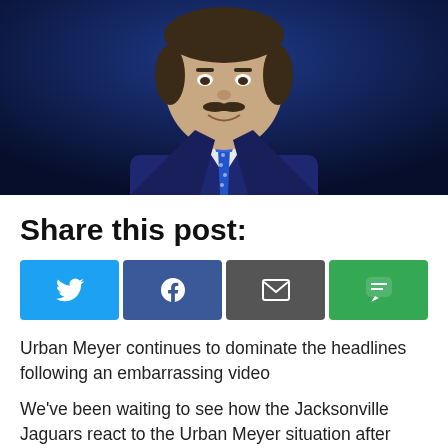[Figure (photo): Man in a dark navy blue suit with a blue polka-dot tie and a pin on his lapel, smiling, photographed from shoulders up against a dark blue background.]
Share this post:
[Figure (infographic): Four social share buttons: Twitter (light blue), Facebook (dark blue), Email (gray), SMS (green), each with their respective icons.]
Urban Meyer continues to dominate the headlines following an embarrassing video
We’ve been waiting to see how the Jacksonville Jaguars react to the Urban Meyer situation after this past weekend. So far, there has been